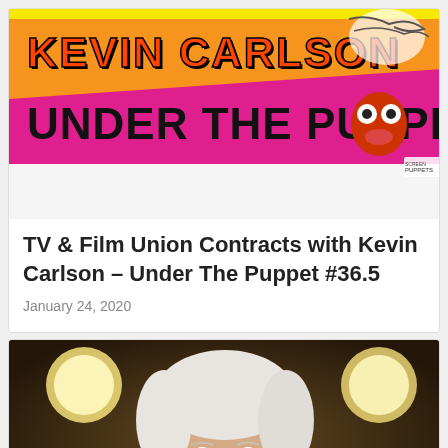[Figure (illustration): Kevin Carlson Under The Puppet podcast banner with orange and magenta background, bold black text reading 'KEVIN CARLSON' and 'UNDER THE PUPPET', with a puppet character and signature]
TV & Film Union Contracts with Kevin Carlson – Under The Puppet #36.5
January 24, 2020
[Figure (photo): Portrait photo of an older man with white hair smiling, dark background with warm yellow globe lights]